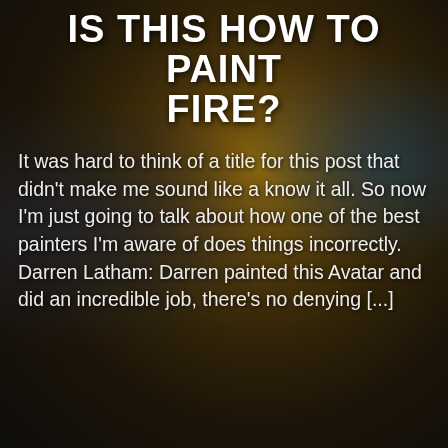[Figure (photo): Dark background photo of a painted miniature figure (Avatar) with fire effects, dark studio setting with equipment visible]
IS THIS HOW TO PAINT FIRE?
It was hard to think of a title for this post that didn't make me sound like a know it all. So now I'm just going to talk about how one of the best painters I'm aware of does things incorrectly. Darren Latham: Darren painted this Avatar and did an incredible job, there's no denying [...]
Read More
[Figure (photo): Dark background photo of a painted miniature base/plinth with flowers, earthy tones]
SOME MOST IRREGULAR